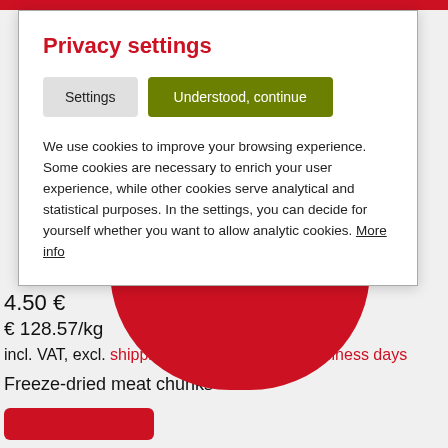Privacy settings
Settings | Understood, continue
We use cookies to improve your browsing experience. Some cookies are necessary to enrich your user experience, while other cookies serve analytical and statistical purposes. In the settings, you can decide for yourself whether you want to allow analytic cookies. More info
4.50 €
€ 128.57/kg
incl. VAT, excl. shipping costs Delivery 1-3 business days
Freeze-dried meat chunks